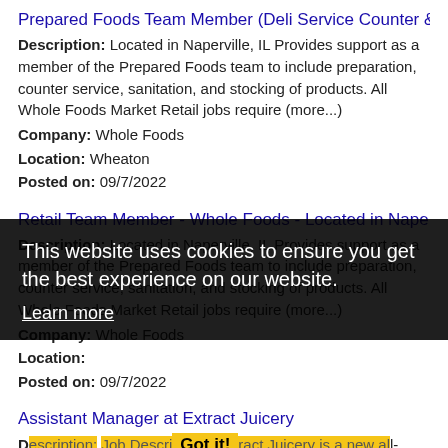Prepared Foods Team Member (Deli Service Counter &
Description: Located in Naperville, IL Provides support as a member of the Prepared Foods team to include preparation, counter service, sanitation, and stocking of products. All Whole Foods Market Retail jobs require (more...)
Company: Whole Foods
Location: Wheaton
Posted on: 09/7/2022
Retail Team Member - Whole Foods - Located in Nape
Description: Located in Naperville, IL Provides support as a member of the Prepared Foods team to include preparation, counter service, sanitation, and stocking of products. All Whole Foods Market Retail jobs require (more...)
Company: Whole Foods
Location:
Posted on: 09/7/2022
Assistant Manager at Extract Juicery
Description: Job Description Extract Juicery is a new all-organic, cold-pressed juice bar in the heart of downtown Wheaton. We are looking for hard-working, motivated individuals to
Company: Extract Juicery
This website uses cookies to ensure you get the best experience on our website. Learn more Got it!